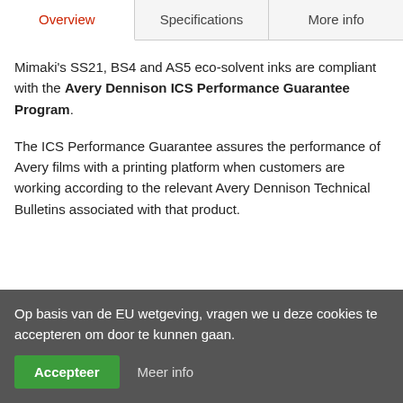Overview | Specifications | More info
Mimaki's SS21, BS4 and AS5 eco-solvent inks are compliant with the Avery Dennison ICS Performance Guarantee Program.
The ICS Performance Guarantee assures the performance of Avery films with a printing platform when customers are working according to the relevant Avery Dennison Technical Bulletins associated with that product.
Op basis van de EU wetgeving, vragen we u deze cookies te accepteren om door te kunnen gaan. Accepteer  Meer info